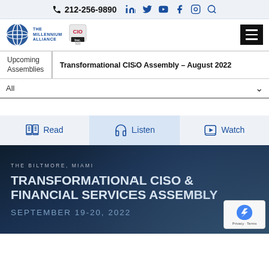212-256-9890
[Figure (logo): The Millennium Alliance logo and CIO / Inc 500 badge logos]
Upcoming Assemblies | Transformational CISO Assembly – August 2022
All
[Figure (infographic): Three media buttons: Read (book icon), Listen (headphones icon, active), Watch (play button icon)]
[Figure (photo): Event banner: THE BILTMORE, MIAMI — TRANSFORMATIONAL CISO & FINANCIAL SERVICES ASSEMBLY — SEPTEMBER 19-20, 2022]